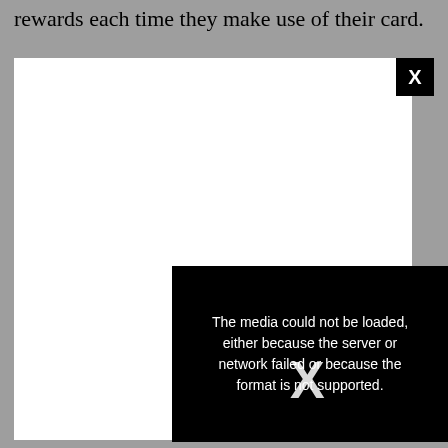rewards each time they make use of their card.
The Extra debit card is also safe to use as they
[Figure (screenshot): A modal dialog box with a white panel overlaid on a grey background. A black 'X' close button is in the top-right corner. A circular grey 'X' button appears at the right edge. A black error message panel partially overlaps the bottom-right of the white modal, showing text: 'The media could not be loaded, either because the server or network failed or because the format is not supported.' with a large X watermark over it.]
for each transaction you make regardless of the location or the reasons.